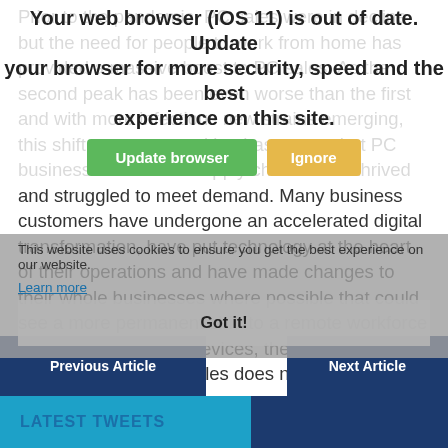Prior to the pandemic, PC sales were in decline but the need for people to work from home has provided a massive boost to PC sales. As the second peak has been even worse than the first and with more infectious new strains emerging, this shift to remote working has meant that PC businesses and their supply chains have thrived and struggled to meet demand. Many business customers have undergone an accelerated digital transformation, have put technology at the heart of their operations and have made changes to their whole businesses where possible that could see a more permanent shift to a remote workforce using PCs and other devices, thereby ensuring that the curve in PC sales does not dip for some time yet.
[Figure (screenshot): Browser out-of-date warning overlay with 'Update browser' (green) and 'Ignore' (yellow) buttons]
[Figure (screenshot): Cookie consent banner with 'Learn more' link and 'Got it!' button]
Previous Article
Next Article
LATEST TWEETS